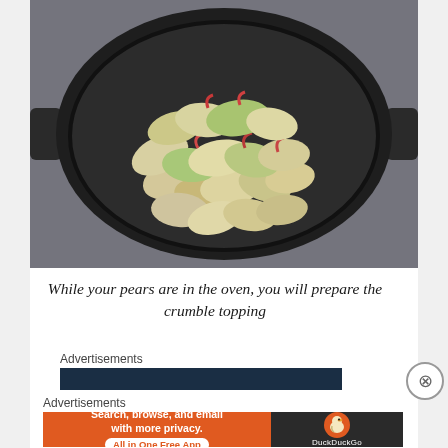[Figure (photo): A cast iron skillet filled with sliced pears (and possibly apples) with red skin showing, arranged in the dark pan, on a granite or stone countertop surface.]
While your pears are in the oven, you will prepare the crumble topping
Advertisements
[Figure (screenshot): Dark teal/navy advertisement banner bar]
Advertisements
[Figure (screenshot): DuckDuckGo advertisement banner: orange left side reading 'Search, browse, and email with more privacy. All in One Free App' and dark right side with DuckDuckGo duck logo and name.]